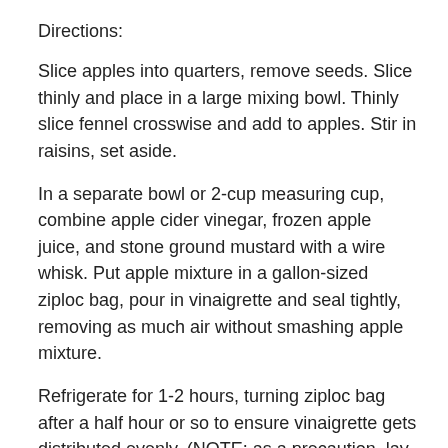Directions:
Slice apples into quarters, remove seeds. Slice thinly and place in a large mixing bowl. Thinly slice fennel crosswise and add to apples. Stir in raisins, set aside.
In a separate bowl or 2-cup measuring cup, combine apple cider vinegar, frozen apple juice, and stone ground mustard with a wire whisk. Put apple mixture in a gallon-sized ziploc bag, pour in vinaigrette and seal tightly, removing as much air without smashing apple mixture.
Refrigerate for 1-2 hours, turning ziploc bag after a half hour or so to ensure vinaigrette gets distributed evenly. (NOTE: as a precaution, lay the ziploc bag flat in a baking dish, just in case it leaks.)
Pour into a serving bowl and garnish with fennel leaves.